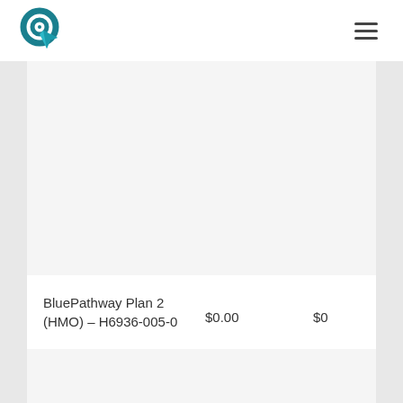BluePathway logo and navigation menu
| Plan Name | Monthly Premium | Drug Deductible |
| --- | --- | --- |
| BluePathway Plan 2 (HMO) – H6936-005-0 | $0.00 | $0 |